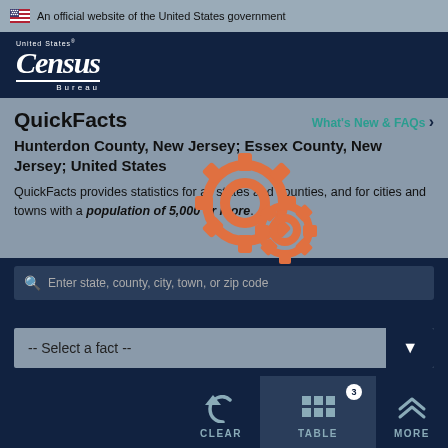🇺🇸 An official website of the United States government
[Figure (logo): United States Census Bureau logo — white text on dark navy background]
QuickFacts
Hunterdon County, New Jersey; Essex County, New Jersey; United States
QuickFacts provides statistics for all states and counties, and for cities and towns with a population of 5,000 or more.
Enter state, county, city, town, or zip code
-- Select a fact --
CLEAR
TABLE
MORE